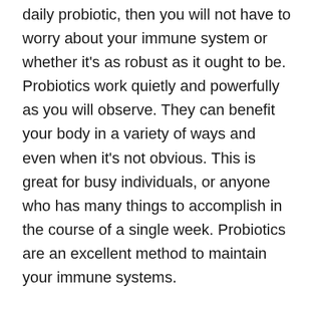daily probiotic, then you will not have to worry about your immune system or whether it's as robust as it ought to be. Probiotics work quietly and powerfully as you will observe. They can benefit your body in a variety of ways and even when it's not obvious. This is great for busy individuals, or anyone who has many things to accomplish in the course of a single week. Probiotics are an excellent method to maintain your immune systems.
Stressors
Stressors are an integral part of life. Some are inevitable. It is possible to feel stressed after feeling stressed. It is because stress can cause negative effects on your health and digestion. The body...